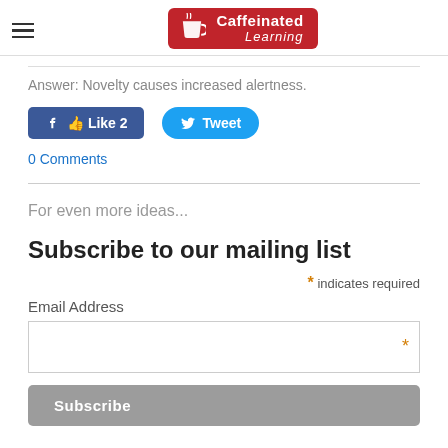[Figure (logo): Caffeinated Learning logo — red badge with coffee cup icon, 'Caffeinated' in bold white and 'Learning' in white italic]
Answer: Novelty causes increased alertness.
[Figure (infographic): Facebook Like button (blue, count 2) and Twitter Tweet button (blue rounded)]
0 Comments
For even more ideas...
Subscribe to our mailing list
* indicates required
Email Address
Subscribe